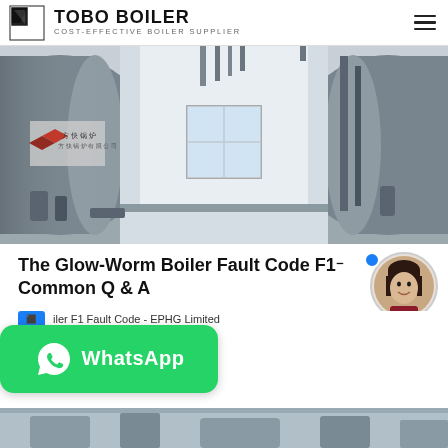TOBO BOILER — COST-EFFECTIVE BOILER SUPPLIER
[Figure (photo): Industrial boiler room with two large cylindrical steel boilers facing each other, pipes and fittings visible, Chinese text on left boiler, bright window in background center]
The Glow-Worm Boiler Fault Code F1 Common Q & A
iler F1 Fault Code - EPHG Limited
[Figure (logo): WhatsApp green button with phone icon and 'WhatsApp' label]
[Figure (photo): Partial bottom photo of industrial equipment (partially visible)]